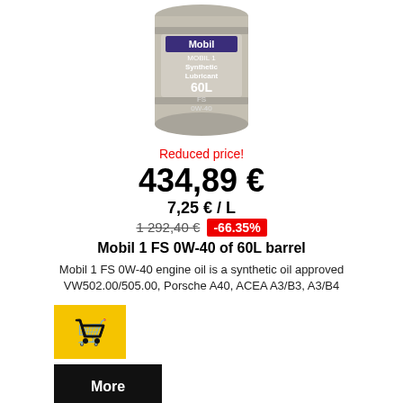[Figure (photo): Mobil 1 synthetic lubricant 60L barrel/drum product image]
Reduced price!
434,89 €
7,25 € / L
1 292,40 € -66.35%
Mobil 1 FS 0W-40 of 60L barrel
Mobil 1 FS 0W-40 engine oil is a synthetic oil approved VW502.00/505.00, Porsche A40, ACEA A3/B3, A3/B4
[Figure (illustration): Yellow shopping cart button]
More